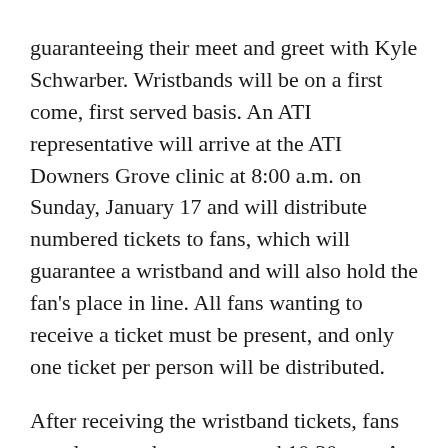guaranteeing their meet and greet with Kyle Schwarber. Wristbands will be on a first come, first served basis. An ATI representative will arrive at the ATI Downers Grove clinic at 8:00 a.m. on Sunday, January 17 and will distribute numbered tickets to fans, which will guarantee a wristband and will also hold the fan's place in line. All fans wanting to receive a ticket must be present, and only one ticket per person will be distributed.
After receiving the wristband tickets, fans may leave and return around 10:30 a.m. At this time, wristbands will be distributed, and fans will be able to meet Schwarber in the order they arrived that day.